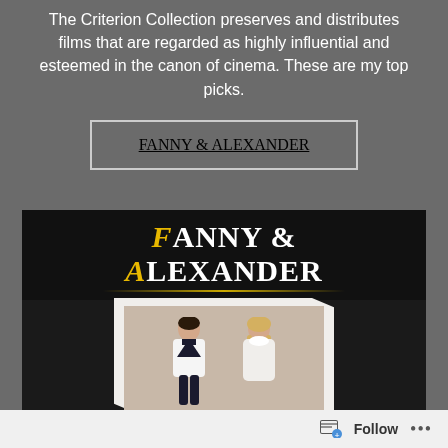The Criterion Collection preserves and distributes films that are regarded as highly influential and esteemed in the canon of cinema. These are my top picks.
FANNY & ALEXANDER
[Figure (photo): Movie poster for 'Fanny & Alexander' showing the title text in large serif font with yellow drop-caps F and A, and two children (a boy in a sailor suit and a girl with braids) standing below on a cream/beige placard background.]
Follow ...